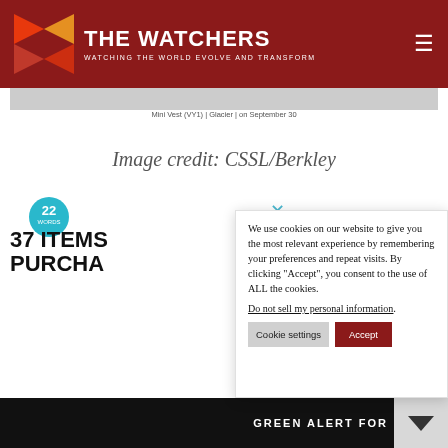THE WATCHERS — WATCHING THE WORLD EVOLVE AND TRANSFORM
[Figure (screenshot): Thin grey image strip with small caption text: 'Mini Vest (VY1) | Glacier | on September 30']
Image credit: CSSL/Berkley
[Figure (logo): 22 Words teal circular badge with number 22 and WORDS text]
37 ITEMS PURCHA
We use cookies on our website to give you the most relevant experience by remembering your preferences and repeat visits. By clicking "Accept", you consent to the use of ALL the cookies.
Do not sell my personal information.
GREEN ALERT FOR